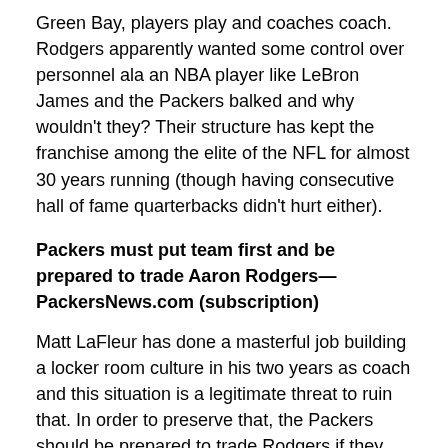Green Bay, players play and coaches coach. Rodgers apparently wanted some control over personnel ala an NBA player like LeBron James and the Packers balked and why wouldn't they? Their structure has kept the franchise among the elite of the NFL for almost 30 years running (though having consecutive hall of fame quarterbacks didn't hurt either).
Packers must put team first and be prepared to trade Aaron Rodgers—PackersNews.com (subscription)
Matt LaFleur has done a masterful job building a locker room culture in his two years as coach and this situation is a legitimate threat to ruin that. In order to preserve that, the Packers should be prepared to trade Rodgers if they can't get him back on board.